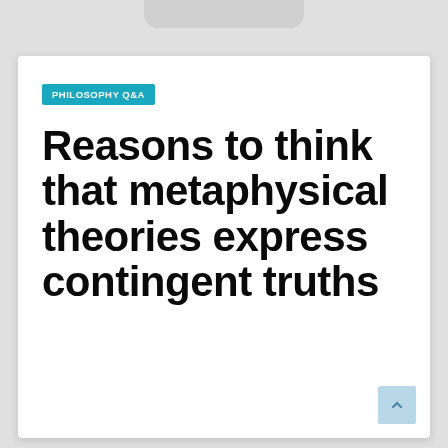PHILOSOPHY Q&A
Reasons to think that metaphysical theories express contingent truths